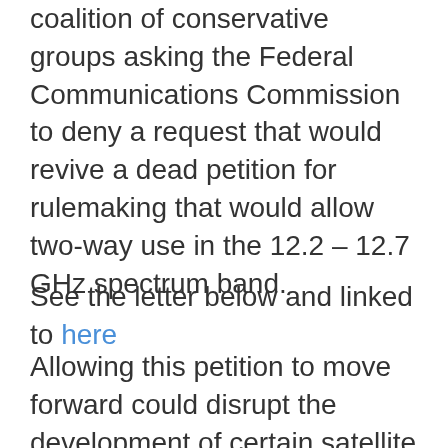coalition of conservative groups asking the Federal Communications Commission to deny a request that would revive a dead petition for rulemaking that would allow two-way use in the 12.2 – 12.7 GHz spectrum band.
See the letter below and linked to here
Allowing this petition to move forward could disrupt the development of certain satellite networks that have the potential of providing high-speed broadband across the entire country.
Proponents of the petition believe